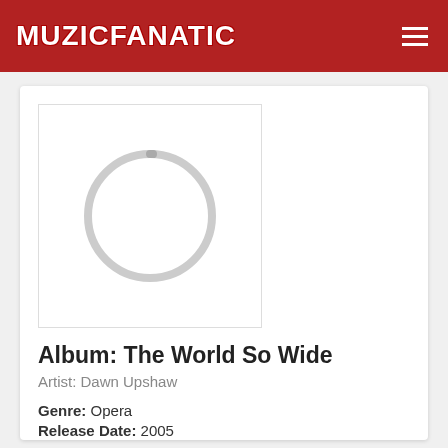MUZICFANATIC
[Figure (photo): Album art placeholder with loading spinner circle on white background]
Album: The World So Wide
Artist: Dawn Upshaw
Genre: Opera
Release Date: 2005